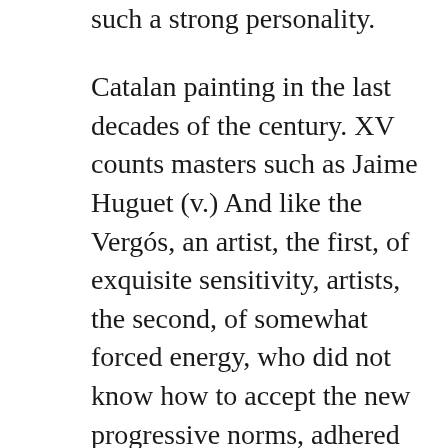such a strong personality.
Catalan painting in the last decades of the century. XV counts masters such as Jaime Huguet (v.) And like the Vergós, an artist, the first, of exquisite sensitivity, artists, the second, of somewhat forced energy, who did not know how to accept the new progressive norms, adhered to the taste for gold abundant and for the plaster reliefs that give the paintings more sumptuousness than beauty, and contributed with their archaism, perhaps decisively, to ensuring that the Catalan painting of the following centuries did not reach the level it had reached since the century. XII.
For his unjustified celebrity, we must mention the painter Rincón in whom the treatise writers of the eighteenth and nineteenth centuries summarized all the change in Spanish painting in the early Renaissance: his name was Fernando and not Antonio, as was believed, and his works reveal him to be a mediocre artist.